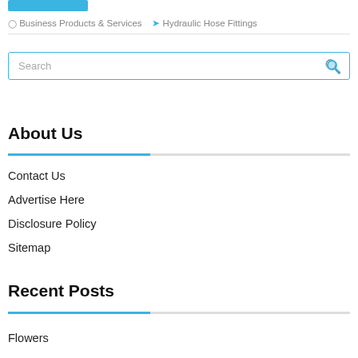[Figure (other): Blue button/rectangle at top left]
Business Products & Services   Hydraulic Hose Fittings
[Figure (other): Search input box with blue border and search icon]
About Us
Contact Us
Advertise Here
Disclosure Policy
Sitemap
Recent Posts
Flowers